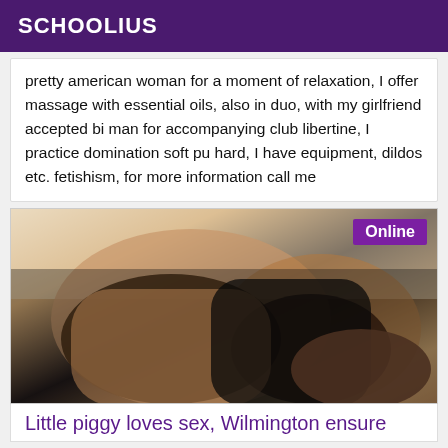SCHOOLIUS
pretty american woman for a moment of relaxation, I offer massage with essential oils, also in duo, with my girlfriend accepted bi man for accompanying club libertine, I practice domination soft pu hard, I have equipment, dildos etc. fetishism, for more information call me
[Figure (photo): Photo of a woman lying down wearing black lingerie, with an 'Online' badge in the top right corner]
Little piggy loves sex, Wilmington ensure